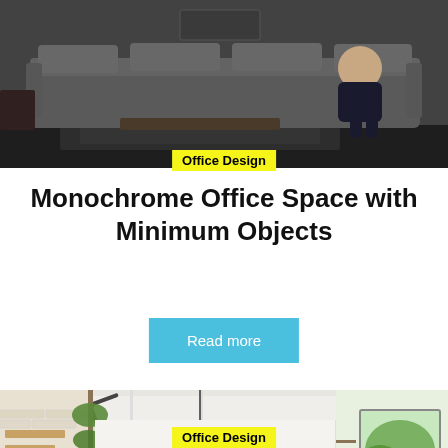[Figure (photo): Interior photo of a monochrome office space with a large grey sofa and person sitting on it, dark flooring, minimalist decor. 'Office Design' badge overlaid at bottom center.]
Office Design
Monochrome Office Space with Minimum Objects
Read more
[Figure (photo): Interior photo of a bright open office with greenery walls, wooden staircase, plants, workers sitting at tables, and large windows with natural light. 'Office Design' badge overlaid at bottom center.]
Office Design